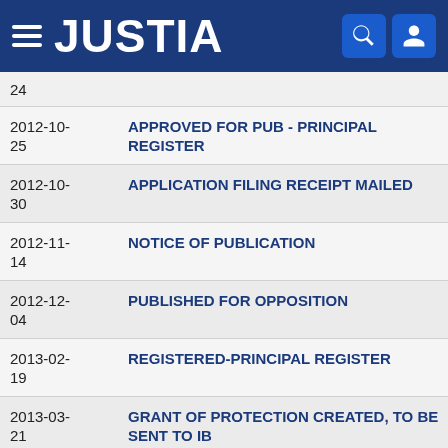JUSTIA
| Date | Event |
| --- | --- |
| 24 |  |
| 2012-10-25 | APPROVED FOR PUB - PRINCIPAL REGISTER |
| 2012-10-30 | APPLICATION FILING RECEIPT MAILED |
| 2012-11-14 | NOTICE OF PUBLICATION |
| 2012-12-04 | PUBLISHED FOR OPPOSITION |
| 2013-02-19 | REGISTERED-PRINCIPAL REGISTER |
| 2013-03-21 | GRANT OF PROTECTION CREATED, TO BE SENT TO IB |
| 2013-03-22 | FINAL DISPOSITION PROCESSED |